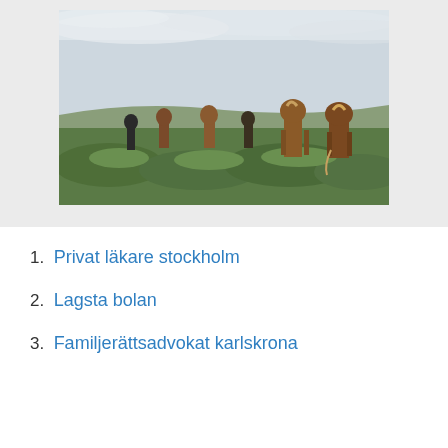[Figure (photo): A group of Icelandic horses standing in a green grassy landscape under a cloudy sky. Several brown and black horses are visible in an open field with mossy green terrain.]
1. Privat läkare stockholm
2. Lagsta bolan
3. Familjerättsadvokat karlskrona